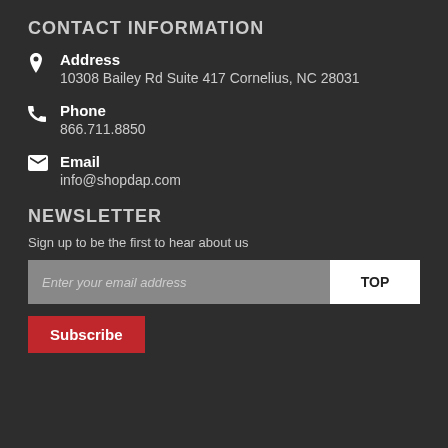CONTACT INFORMATION
Address
10308 Bailey Rd Suite 417 Cornelius, NC 28031
Phone
866.711.8850
Email
info@shopdap.com
NEWSLETTER
Sign up to be the first to hear about us
Enter your email address
TOP
Subscribe